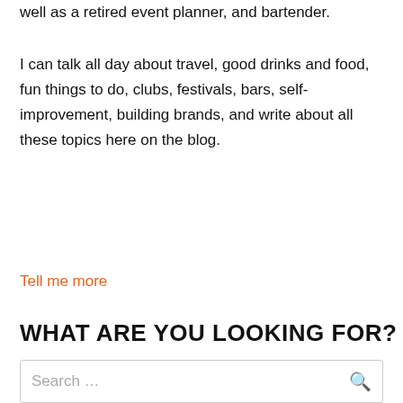well as a retired event planner, and bartender.
I can talk all day about travel, good drinks and food, fun things to do, clubs, festivals, bars, self-improvement, building brands, and write about all these topics here on the blog.
Tell me more
WHAT ARE YOU LOOKING FOR?
Search ...